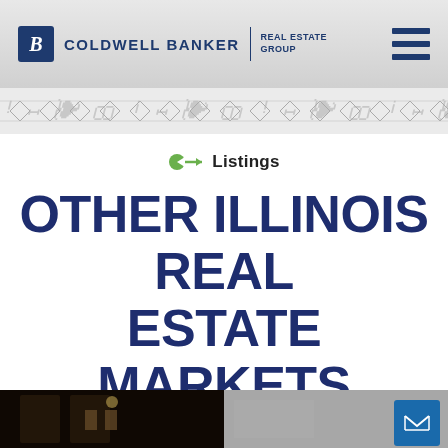COLDWELL BANKER REAL ESTATE GROUP
Listings
OTHER ILLINOIS REAL ESTATE MARKETS
[Figure (photo): Two dark interior room photos side by side at bottom of page, with email contact button overlay on right photo]